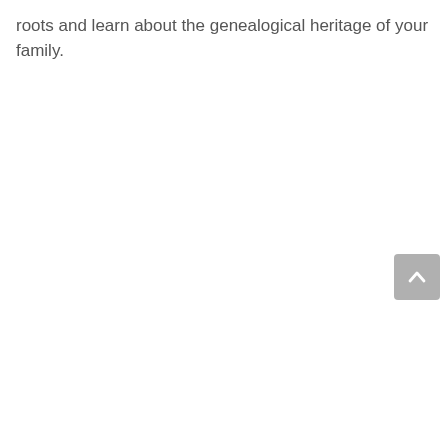roots and learn about the genealogical heritage of your family.
[Figure (other): Back to top button: a grey rounded rectangle with a white upward-pointing chevron/caret arrow icon]